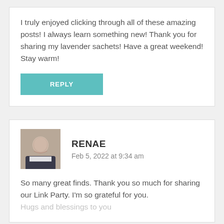I truly enjoyed clicking through all of these amazing posts! I always learn something new! Thank you for sharing my lavender sachets! Have a great weekend! Stay warm!
REPLY
RENAE
Feb 5, 2022 at 9:34 am
So many great finds. Thank you so much for sharing our Link Party. I'm so grateful for you. Hugs and blessings to you